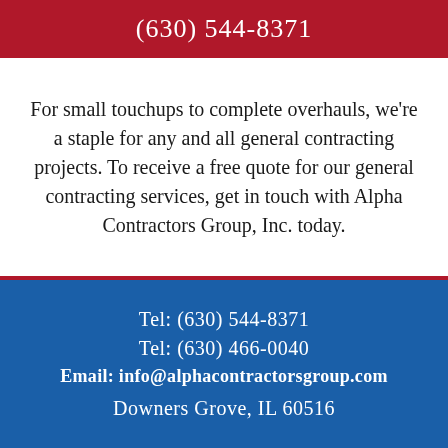(630) 544-8371
For small touchups to complete overhauls, we're a staple for any and all general contracting projects. To receive a free quote for our general contracting services, get in touch with Alpha Contractors Group, Inc. today.
Tel:  (630)  544-8371
Tel:  (630)  466-0040
Email:  info@alphacontractorsgroup.com
Downers Grove, IL  60516